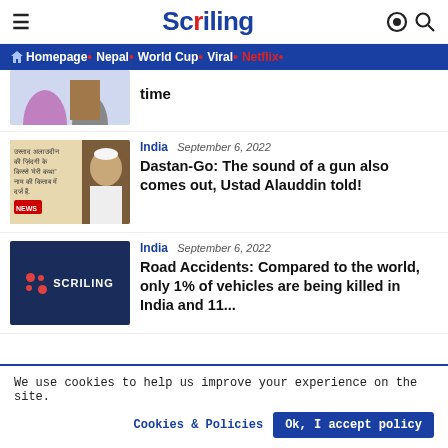Scriling
Homepage • Nepal • World Cup • Viral • Netflix •
time
India  September 6, 2022
Dastan-Go: The sound of a gun also comes out, Ustad Alauddin told!
India  September 6, 2022
Road Accidents: Compared to the world, only 1% of vehicles are being killed in India and 11...
We use cookies to help us improve your experience on the site.
Cookies & Policies
Ok, I accept policy